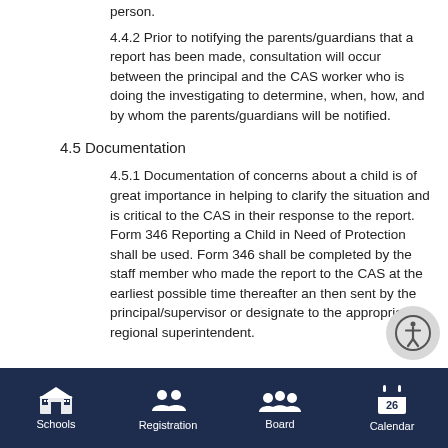person.
4.4.2 Prior to notifying the parents/guardians that a report has been made, consultation will occur between the principal and the CAS worker who is doing the investigating to determine, when, how, and by whom the parents/guardians will be notified.
4.5 Documentation
4.5.1 Documentation of concerns about a child is of great importance in helping to clarify the situation and is critical to the CAS in their response to the report. Form 346 Reporting a Child in Need of Protection shall be used. Form 346 shall be completed by the staff member who made the report to the CAS at the earliest possible time thereafter and then sent by the principal/supervisor or designate to the appropriate regional superintendent.
Schools  Registration  Board  Calendar